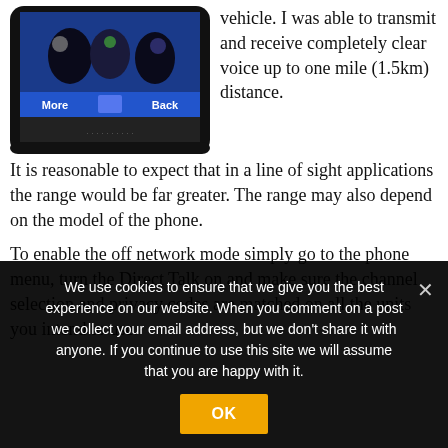[Figure (photo): Photograph of a mobile phone screen showing a game or app with 'More' and 'Back' buttons visible, blue interface.]
vehicle. I was able to transmit and receive completely clear voice up to one mile (1.5km) distance.
It is reasonable to expect that in a line of sight applications the range would be far greater. The range may also depend on the model of the phone.
To enable the off network mode simply go to the phone menu, turn the Direct Talk on and make sure the channel selection and privacy codes are matched on all the units you intend to use.
We use cookies to ensure that we give you the best experience on our website. When you comment on a post we collect your email address, but we don't share it with anyone. If you continue to use this site we will assume that you are happy with it.